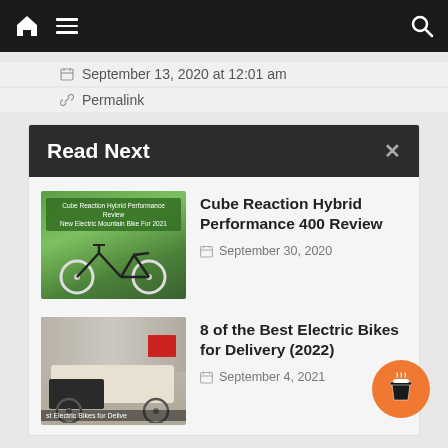Navigation bar with home, menu, and search icons
September 13, 2020 at 12:01 am
Permalink
Read Next
[Figure (photo): Thumbnail of Cube Reaction Hybrid Performance 400 electric mountain bike against green forest background]
Cube Reaction Hybrid Performance 400 Review
September 30, 2020
[Figure (photo): Thumbnail of cargo electric bike on city street with red package box]
8 of the Best Electric Bikes for Delivery (2022)
September 4, 2021